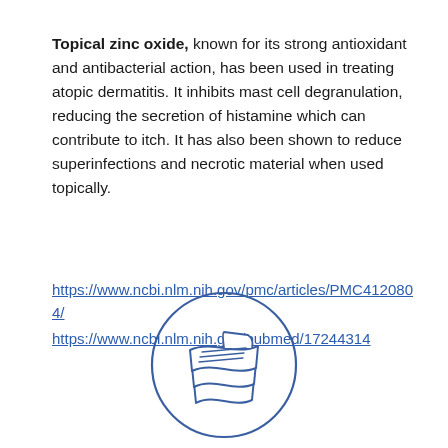Topical zinc oxide, known for its strong antioxidant and antibacterial action, has been used in treating atopic dermatitis. It inhibits mast cell degranulation, reducing the secretion of histamine which can contribute to itch. It has also been shown to reduce superinfections and necrotic material when used topically.
https://www.ncbi.nlm.nih.gov/pmc/articles/PMC4120804/
https://www.ncbi.nlm.nih.gov/pubmed/17244314
[Figure (illustration): A circular icon outline containing a stack of three wavy/folded pages or documents, drawn in a blue outline style.]